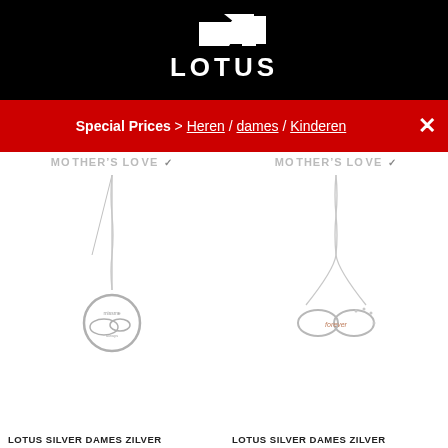[Figure (logo): Lotus brand logo — white triangle/arrow shape above white LOTUS wordmark on black background]
Special Prices > Heren / dames / Kinderen
MOTHER'S LOVE   MOTHER'S LOVE
[Figure (photo): Silver necklace with circular pendant engraved with clouds and text, on white background]
[Figure (photo): Silver necklace with infinity symbol pendant with rose gold accent and text, on white background]
LOTUS SILVER DAMES ZILVER
LOTUS SILVER DAMES ZILVER